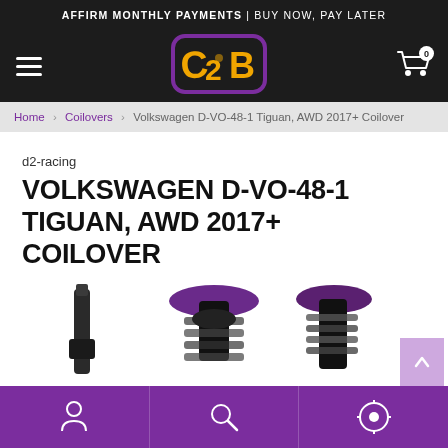AFFIRM MONTHLY PAYMENTS | BUY NOW, PAY LATER
[Figure (logo): C2B store logo — stylized graffiti letters C2B in orange/yellow on dark background with purple rounded rectangle border]
Home > Coilovers > Volkswagen D-VO-48-1 Tiguan, AWD 2017+ Coilover
d2-racing
VOLKSWAGEN D-VO-48-1 TIGUAN, AWD 2017+ COILOVER
[Figure (photo): Product photo showing D2 Racing coilover components including struts with purple top mounts and coil springs]